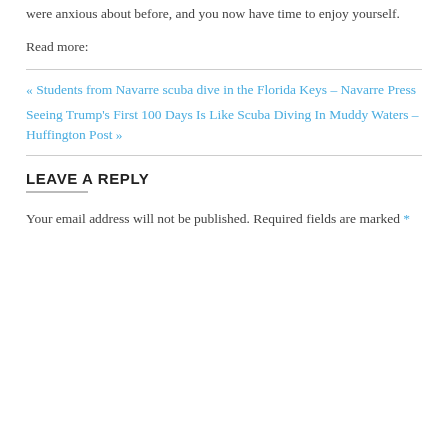One day, you'll realize you've achieved everything you were anxious about before, and you now have time to enjoy yourself.
Read more:
« Students from Navarre scuba dive in the Florida Keys – Navarre Press
Seeing Trump's First 100 Days Is Like Scuba Diving In Muddy Waters – Huffington Post »
LEAVE A REPLY
Your email address will not be published. Required fields are marked *